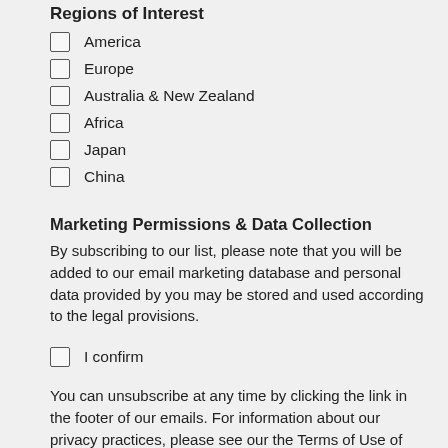Regions of Interest
America
Europe
Australia & New Zealand
Africa
Japan
China
Marketing Permissions & Data Collection
By subscribing to our list, please note that you will be added to our email marketing database and personal data provided by you may be stored and used according to the legal provisions.
I confirm
You can unsubscribe at any time by clicking the link in the footer of our emails. For information about our privacy practices, please see our the Terms of Use of our website.
We use Mailchimp as our marketing platform. By clicking below to subscribe, you acknowledge that your information will be transferred to Mailchimp for